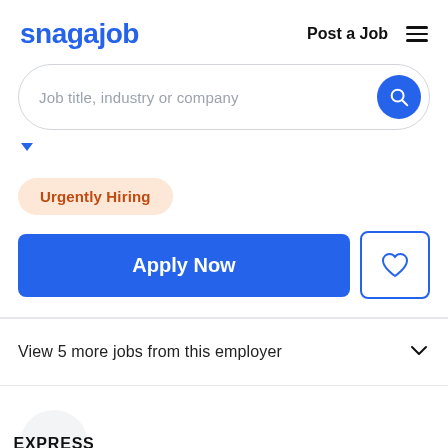snagajob  Post a Job  ≡
Job title, industry or company
[Figure (screenshot): Blue location/filter dropdown arrow]
Urgently Hiring
Apply Now
View 5 more jobs from this employer
[Figure (logo): EXPRESS logo inside a light gray circle]